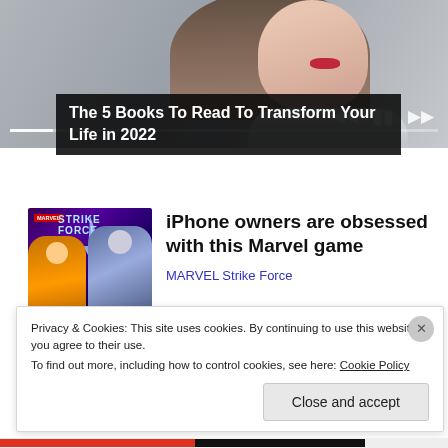[Figure (screenshot): Video player showing a woman with dark hair and red lips, with playback controls (previous, pause, next) and a progress bar at the bottom]
The 5 Books To Read To Transform Your Life in 2022
[Figure (illustration): Marvel Strike Force game advertisement image showing two characters: KYRIE and MIGHTY THOR with stars ratings]
iPhone owners are obsessed with this Marvel game
MARVEL Strike Force
Privacy & Cookies: This site uses cookies. By continuing to use this website, you agree to their use.
To find out more, including how to control cookies, see here: Cookie Policy
Close and accept